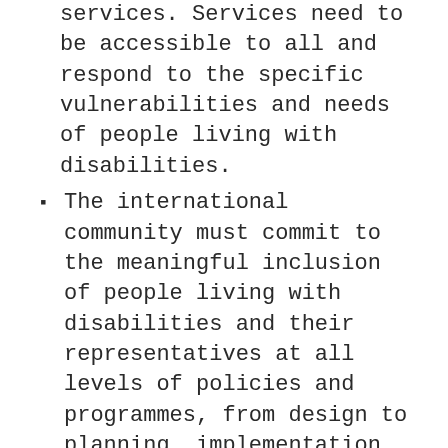services. Services need to be accessible to all and respond to the specific vulnerabilities and needs of people living with disabilities.
The international community must commit to the meaningful inclusion of people living with disabilities and their representatives at all levels of policies and programmes, from design to planning, implementation, monitoring and evaluation. It must also invest in strengthening the capacities of community-based organizations led by people living with disabilities and delivering services to people living with disabilities.
Policymakers and health providers must